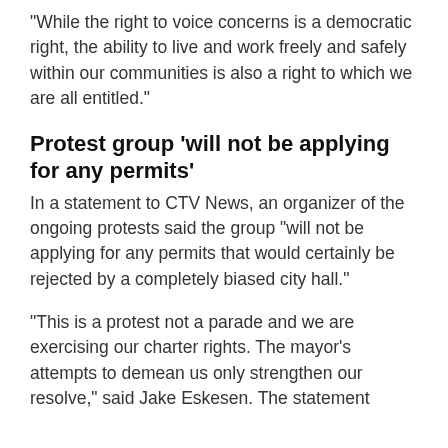"While the right to voice concerns is a democratic right, the ability to live and work freely and safely within our communities is also a right to which we are all entitled."
Protest group 'will not be applying for any permits'
In a statement to CTV News, an organizer of the ongoing protests said the group "will not be applying for any permits that would certainly be rejected by a completely biased city hall."
"This is a protest not a parade and we are exercising our charter rights. The mayor's attempts to demean us only strengthen our resolve," said Jake Eskesen. The statement